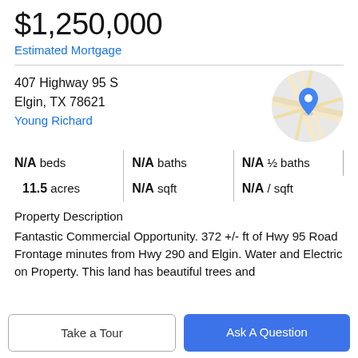$1,250,000
Estimated Mortgage
407 Highway 95 S
Elgin, TX 78621
Young Richard
[Figure (map): Circular map thumbnail showing street map with blue location pin marker]
| Beds | Baths | Half Baths |
| --- | --- | --- |
| N/A beds | N/A baths | N/A ½ baths |
| 11.5 acres | N/A sqft | N/A / sqft |
Property Description
Fantastic Commercial Opportunity. 372 +/- ft of Hwy 95 Road Frontage minutes from Hwy 290 and Elgin. Water and Electric on Property. This land has beautiful trees and
Take a Tour
Ask A Question